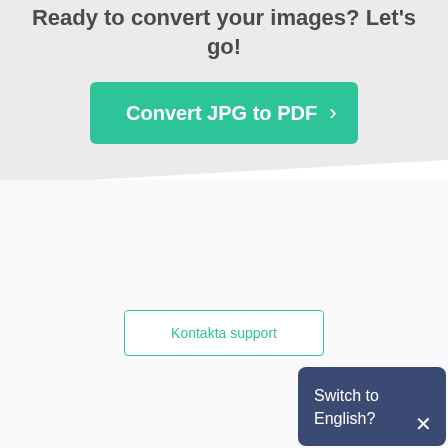Ready to convert your images? Let's go!
[Figure (other): Green call-to-action button labeled 'Convert JPG to PDF' with a right chevron arrow]
[Figure (other): Outlined button labeled 'Kontakta support']
Switch to English?